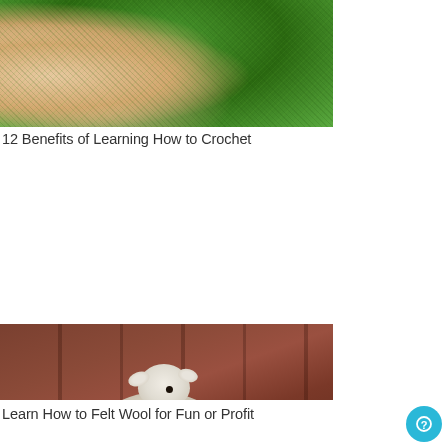[Figure (photo): Hands crocheting green yarn, close-up view showing fingers working with bright green crocheted fabric]
12 Benefits of Learning How to Crochet
[Figure (photo): A felted wool sheep figurine sitting on a rustic wooden surface, white fluffy wool body with small white head and black eye]
Learn How to Felt Wool for Fun or Profit
[Figure (photo): Partial view of craft materials at the bottom, showing yellow/orange colors, partially cut off]